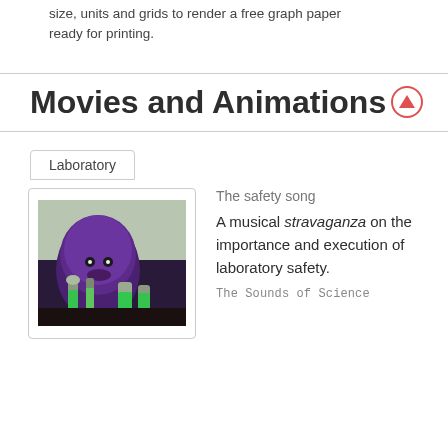size, units and grids to render a free graph paper ready for printing.
Movies and Animations
Laboratory
[Figure (photo): A purple fuzzy monster puppet in a laboratory setting with green liquid flasks]
The safety song
A musical stravaganza on the importance and execution of laboratory safety.
The Sounds of Science